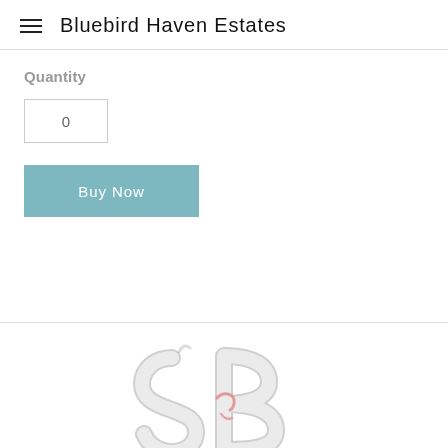Bluebird Haven Estates
Quantity
0
Buy Now
[Figure (logo): Stylized SB monogram logo in light gray/white with pink accent, partial view at bottom of page]